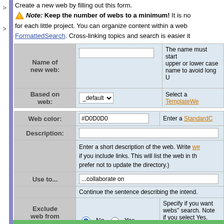Create a new web by filling out this form.
Note: Keep the number of webs to a minimum! It is no
for each little project. You can organize content within a web
FormattedSearch. Cross-linking topics and search is easier it
| Field | Input | Description |
| --- | --- | --- |
| Name of new web: | (text input) | The name must start upper or lower case name to avoid long U |
| Based on web: | _default (dropdown) | Select a TemplateWe |
| Field | Input | Description |
| --- | --- | --- |
| Web color: | #D0D0D0 | Enter a StandardC |
| Description: | (text input) | Enter a short description of the web. Write we if you include links. This will list the web in th prefer not to update the directory.) |
| Use to... | ...collaborate on | Continue the sentence describing the intend. |
| Exclude web from "search all": | No (selected), Yes | Specify if you want webs" search. Note if you select Yes. |